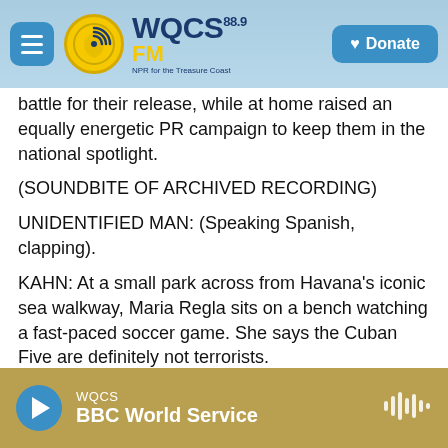[Figure (screenshot): WQCS 88.9 FM radio station navigation bar with hamburger menu, logo, and Donate button]
battle for their release, while at home raised an equally energetic PR campaign to keep them in the national spotlight.
(SOUNDBITE OF ARCHIVED RECORDING)
UNIDENTIFIED MAN: (Speaking Spanish, clapping).
KAHN: At a small park across from Havana's iconic sea walkway, Maria Regla sits on a bench watching a fast-paced soccer game. She says the Cuban Five are definitely not terrorists.
MARIA REGLA: (through interpreter) They were
[Figure (screenshot): Audio player bar at bottom showing WQCS / BBC World Service with play button and waveform icon]